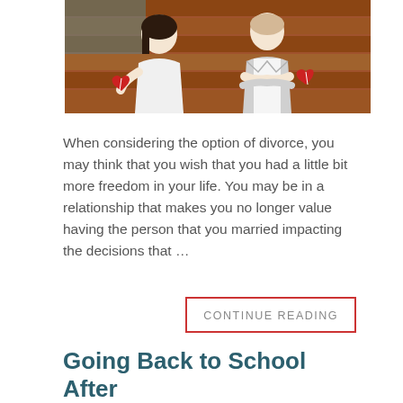[Figure (photo): Two people standing apart holding broken heart pieces, suggesting relationship conflict or divorce. Woman in white blouse on left, man in gray vest with arms crossed on right, against a wooden background.]
When considering the option of divorce, you may think that you wish that you had a little bit more freedom in your life. You may be in a relationship that makes you no longer value having the person that you married impacting the decisions that …
CONTINUE READING
Going Back to School After